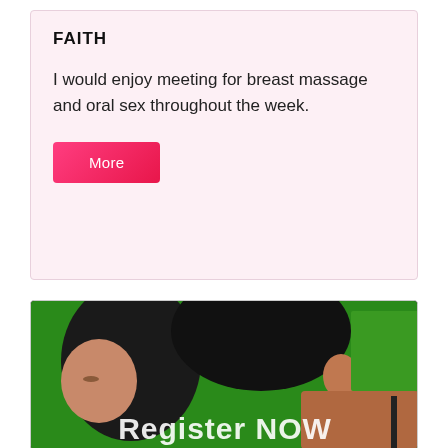FAITH
I would enjoy meeting for breast massage and oral sex throughout the week.
[Figure (photo): Photo of two people in an intimate pose against a green background, with 'Register NOW' text overlay at the bottom]